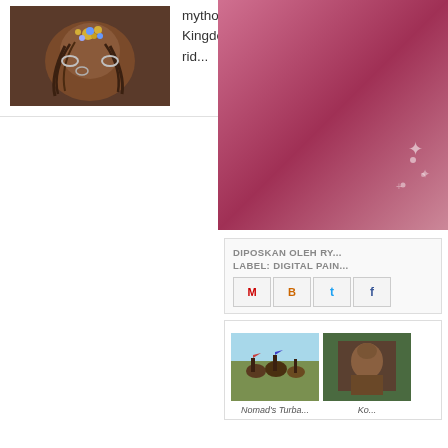[Figure (photo): Thumbnail image of Lembuswana mythological creature with ornate decoration]
mythological animal of Kutai people since the time of Kutai Kingdom. Lembuswana is a sacred animal because it is a rid...
[Figure (photo): Pink/rose gradient sidebar image with sparkle decorations]
DIPOSKAN OLEH RY...
LABEL: DIGITAL PAIN...
[Figure (photo): Related post image of horsemen riding in a field]
[Figure (photo): Related post image of a portrait]
Nomad's Turba...
Ko...